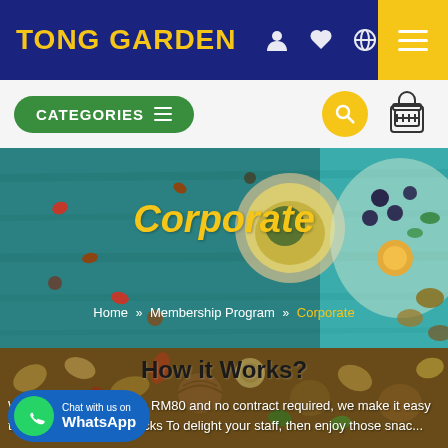[Figure (screenshot): Tong Garden website navigation bar with dark blue background, yellow logo text 'TONG GARDEN', navigation icons (user, heart, globe), and yellow hamburger menu button]
[Figure (screenshot): Green categories button with hamburger icon, search circle button in yellow, and cart icon on light gray bar]
[Figure (screenshot): Hero banner with teal/blue-green background showing food items, title 'Corporate' in yellow italic, breadcrumb navigation: Home >> Membership Program >> Corporate]
[Figure (screenshot): Content section over nuts background image showing 'How it Works?' heading and text about free delivery above RM80 and no contract required]
[Figure (screenshot): WhatsApp chat button in bottom left: green circle with phone icon, blue pill button with 'Chat with us on WhatsApp']